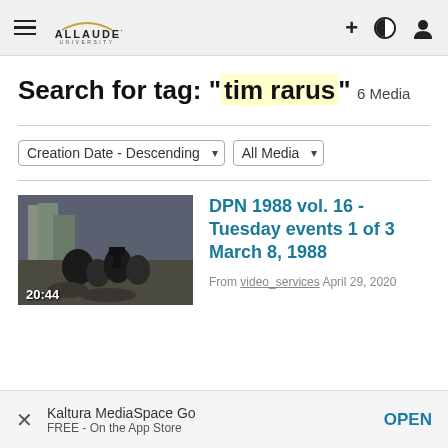Gallaudet University — Navigation bar
Search for tag: "tim rarus"
6 Media
Creation Date - Descending  All Media
[Figure (screenshot): Video thumbnail showing outdoor scene with people and camera crew, duration 20:44]
DPN 1988 vol. 16 - Tuesday events 1 of 3 March 8, 1988
From video_services April 29, 2020
Kaltura MediaSpace Go  FREE - On the App Store  OPEN